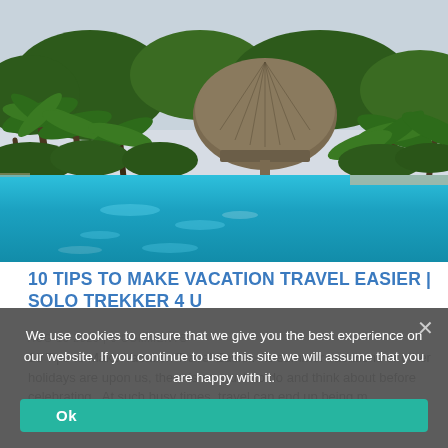[Figure (photo): Tropical resort pool with palm trees and a thatched palapa/hut structure, clear blue water in the foreground and lush green vegetation in the background.]
10 TIPS TO MAKE VACATION TRAVEL EASIER | SOLO TREKKER 4 U
AUG 13 2023 | 0 COMMENTS
10 Tips to Make Vacation Travel Easier. As summer vacations or other holidays are upon us, there is so much to do and think about before celebrating.  At such busy times, travel can end up being m...
We use cookies to ensure that we give you the best experience on our website. If you continue to use this site we will assume that you are happy with it.